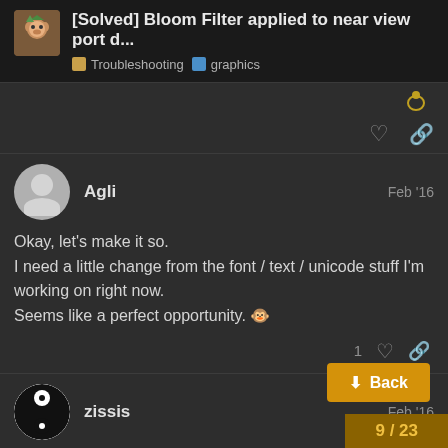[Solved] Bloom Filter applied to near view port d... Troubleshooting graphics
Okay, let's make it so.
I need a little change from the font / text / unicode stuff I'm working on right now.
Seems like a perfect opportunity. 🐵
Agli Feb '16
zissis Feb '16
@Agli All done. I am posting the MultiVie below. I have created access methods for